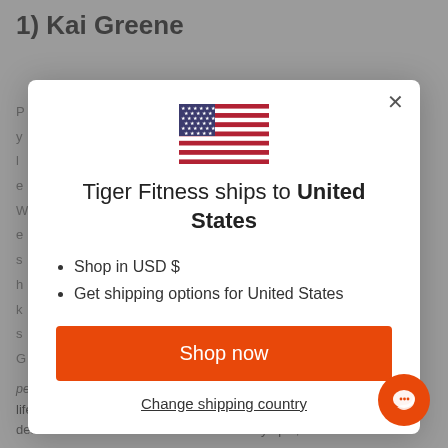1) Kai Greene
[Figure (screenshot): A modal dialog popup from Tiger Fitness website showing a US flag, shipping information message, bullet points, orange shop now button, and change shipping country link]
Tiger Fitness ships to United States
Shop in USD $
Get shipping options for United States
Shop now
Change shipping country
perspective Kai was just competing against a once-in-a-lifetime freak in Phil Heath. BUT, I can argue and win that Kai deserved to beat Phil in at least one Mr. Olympia, based on...